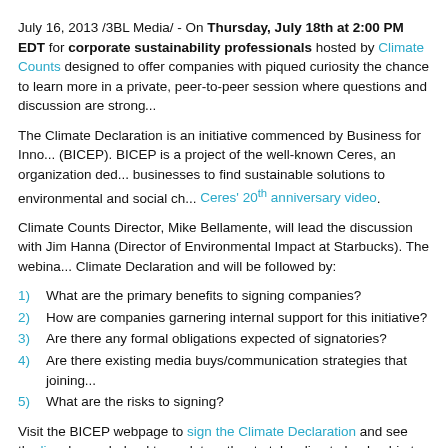July 16, 2013 /3BL Media/ - On Thursday, July 18th at 2:00 PM EDT for corporate sustainability professionals hosted by Climate Counts designed to offer companies with piqued curiosity the chance to learn more in a private, peer-to-peer session where questions and discussion are strongly...
The Climate Declaration is an initiative commenced by Business for Innovation (BICEP). BICEP is a project of the well-known Ceres, an organization dedicated to businesses to find sustainable solutions to environmental and social challenges. Ceres' 20th anniversary video.
Climate Counts Director, Mike Bellamente, will lead the discussion with Jim Hanna (Director of Environmental Impact at Starbucks). The webinar Climate Declaration and will be followed by:
1) What are the primary benefits to signing companies?
2) How are companies garnering internal support for this initiative?
3) Are there any formal obligations expected of signatories?
4) Are there existing media buys/communication strategies that joining...
5) What are the risks to signing?
Visit the BICEP webpage to sign the Climate Declaration and see the list... have pledged to work together to take climate leadership to the next level.
Stay up to date by following us on Twitter or liking our Facebook page!